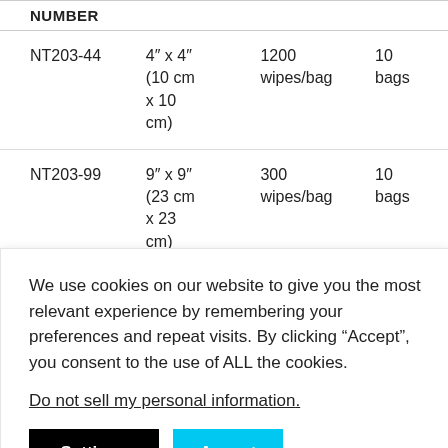| NUMBER | SIZE | WIPES | BAGS |
| --- | --- | --- | --- |
| NT203-44 | 4" x 4" (10 cm x 10 cm) | 1200 wipes/bag | 10 bags |
| NT203-99 | 9" x 9" (23 cm x 23 cm) | 300 wipes/bag | 10 bags |
We use cookies on our website to give you the most relevant experience by remembering your preferences and repeat visits. By clicking “Accept”, you consent to the use of ALL the cookies.
Do not sell my personal information.
[Figure (screenshot): Cookie consent banner with Settings (black button) and Accept (cyan button)]
[Figure (photo): Bottom strip showing product images partially visible]